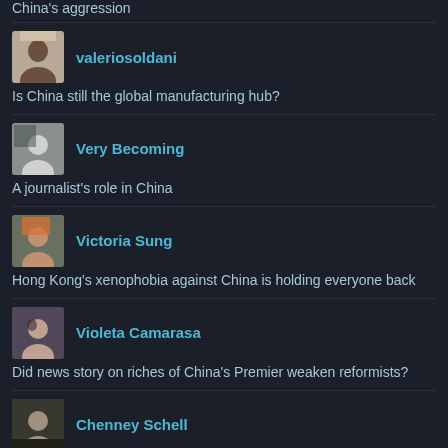China's aggression
valeriosoldani — Is China still the global manufacturing hub?
Very Becoming — A journalist's role in China
Victoria Sung — Hong Kong's xenophobia against China is holding everyone back
Violeta Camarasa — Did news story on riches of China's Premier weaken reformists?
Chenney Schell — Chinese cyber-warfare unit identified by American computer security firm
vpolitiken